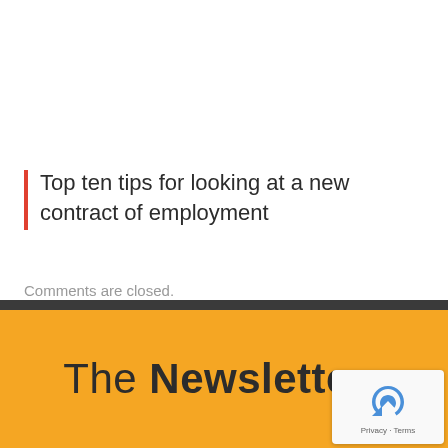Top ten tips for looking at a new contract of employment
Comments are closed.
The Newsletter